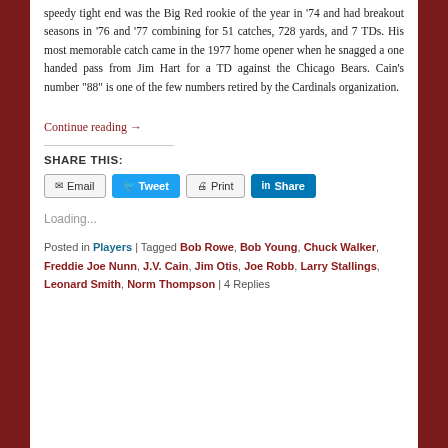speedy tight end was the Big Red rookie of the year in '74 and had breakout seasons in '76 and '77 combining for 51 catches, 728 yards, and 7 TDs. His most memorable catch came in the 1977 home opener when he snagged a one handed pass from Jim Hart for a TD against the Chicago Bears. Cain's number "88" is one of the few numbers retired by the Cardinals organization.
Continue reading →
SHARE THIS:
Email | Tweet | Print | Share
Loading...
Posted in Players | Tagged Bob Rowe, Bob Young, Chuck Walker, Freddie Joe Nunn, J.V. Cain, Jim Otis, Joe Robb, Larry Stallings, Leonard Smith, Norm Thompson | 4 Replies